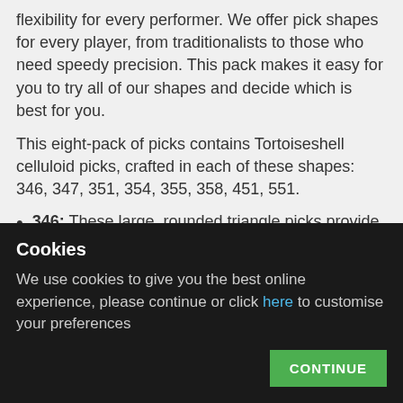flexibility for every performer. We offer pick shapes for every player, from traditionalists to those who need speedy precision. This pack makes it easy for you to try all of our shapes and decide which is best for you.
This eight-pack of picks contains Tortoiseshell celluloid picks, crafted in each of these shapes: 346, 347, 351, 354, 355, 358, 451, 551.
346: These large, rounded triangle picks provide three edges to use. The wide body provides plenty of surface to hold, and the rounded tip gives a nice, smooth action.
347: A more oval shaped pick, the 347 is a nice compromise for a player looking for something slightly
Cookies
We use cookies to give you the best online experience, please continue or click here to customise your preferences